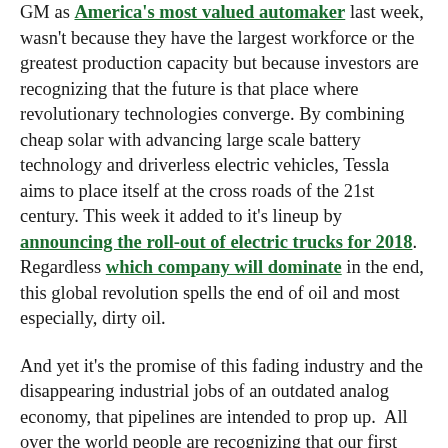GM as America's most valued automaker last week, wasn't because they have the largest workforce or the greatest production capacity but because investors are recognizing that the future is that place where revolutionary technologies converge. By combining cheap solar with advancing large scale battery technology and driverless electric vehicles, Tessla aims to place itself at the cross roads of the 21st century. This week it added to it's lineup by announcing the roll-out of electric trucks for 2018. Regardless which company will dominate in the end, this global revolution spells the end of oil and most especially, dirty oil.

And yet it's the promise of this fading industry and the disappearing industrial jobs of an outdated analog economy, that pipelines are intended to prop up.  All over the world people are recognizing that our first obligation, as David Suzuki told the 1,200 or so BC Greens